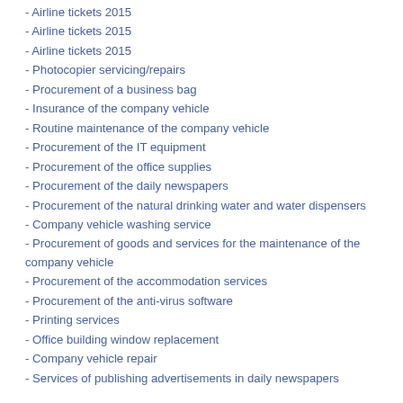- Airline tickets 2015
- Airline tickets 2015
- Airline tickets 2015
- Photocopier servicing/repairs
- Procurement of a business bag
- Insurance of the company vehicle
- Routine maintenance of the company vehicle
- Procurement of the IT equipment
- Procurement of the office supplies
- Procurement of the daily newspapers
- Procurement of the natural drinking water and water dispensers
- Company vehicle washing service
- Procurement of goods and services for the maintenance of the company vehicle
- Procurement of the accommodation services
- Procurement of the anti-virus software
- Printing services
- Office building window replacement
- Company vehicle repair
- Services of publishing advertisements in daily newspapers